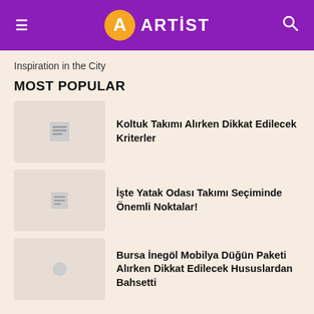ARTİST
Inspiration in the City
MOST POPULAR
Koltuk Takımı Alırken Dikkat Edilecek Kriterler
İşte Yatak Odası Takımı Seçiminde Önemli Noktalar!
Bursa İnegöl Mobilya Düğün Paketi Alırken Dikkat Edilecek Hususlardan Bahsetti